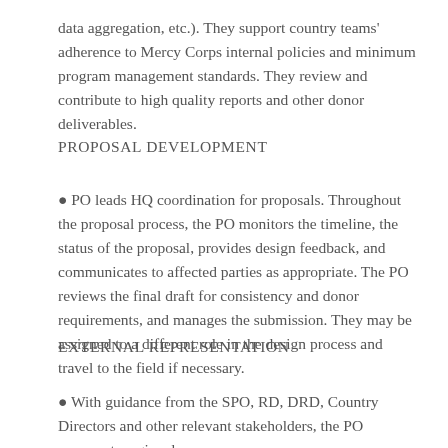data aggregation, etc.). They support country teams' adherence to Mercy Corps internal policies and minimum program management standards. They review and contribute to high quality reports and other donor deliverables.
PROPOSAL DEVELOPMENT
● PO leads HQ coordination for proposals. Throughout the proposal process, the PO monitors the timeline, the status of the proposal, provides design feedback, and communicates to affected parties as appropriate. The PO reviews the final draft for consistency and donor requirements, and manages the submission. They may be assigned to a different role in the design process and travel to the field if necessary.
EXTERNAL REPRESENTATION
● With guidance from the SPO, RD, DRD, Country Directors and other relevant stakeholders, the PO represents regional